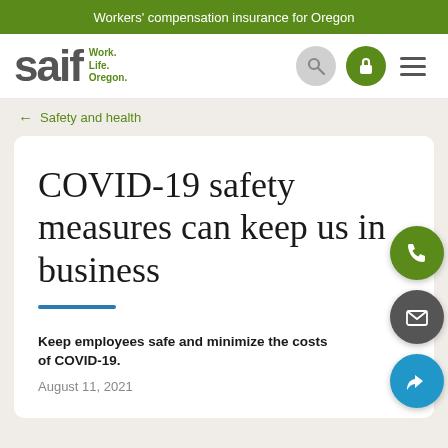Workers' compensation insurance for Oregon
[Figure (logo): SAIF logo with tagline Work. Life. Oregon. and navigation icons for search, account login, and menu]
← Safety and health
COVID-19 safety measures can keep us in business
Keep employees safe and minimize the costs of COVID-19.
August 11, 2021